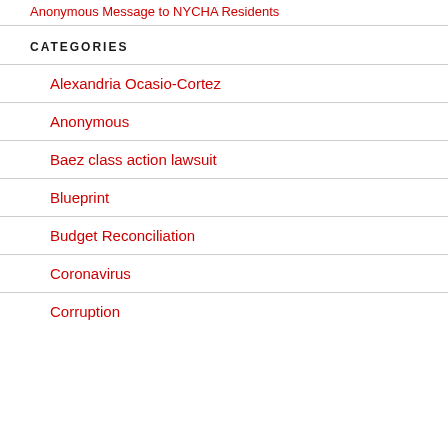Anonymous Message to NYCHA Residents
CATEGORIES
Alexandria Ocasio-Cortez
Anonymous
Baez class action lawsuit
Blueprint
Budget Reconciliation
Coronavirus
Corruption